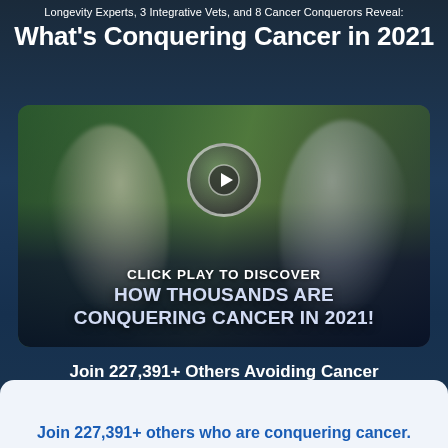Longevity Experts, 3 Integrative Vets, and 8 Cancer Conquerors Reveal:
What's Conquering Cancer in 2021
[Figure (photo): Video thumbnail showing two elderly people dancing outdoors in a green park setting, with a circular play button overlay in the center. Text overlay reads: CLICK PLAY TO DISCOVER HOW THOUSANDS ARE CONQUERING CANCER IN 2021!]
Join 227,391+ Others Avoiding Cancer
During this FREE Online Event
Join 227,391+ others who are conquering cancer.